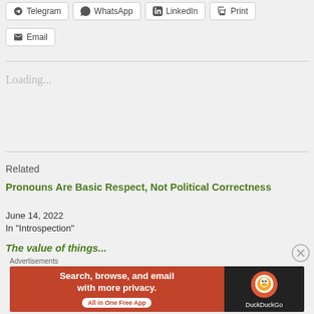Telegram
WhatsApp
LinkedIn
Print
Email
Loading...
Related
Pronouns Are Basic Respect, Not Political Correctness
June 14, 2022
In "Introspection"
The value of things...
Advertisements
[Figure (screenshot): DuckDuckGo advertisement banner: 'Search, browse, and email with more privacy. All in One Free App' with DuckDuckGo logo on dark background]